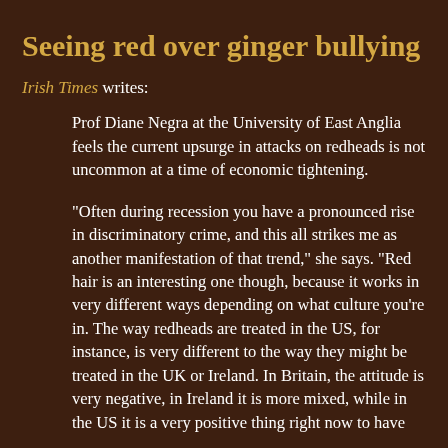Seeing red over ginger bullying
Irish Times writes:
Prof Diane Negra at the University of East Anglia feels the current upsurge in attacks on redheads is not uncommon at a time of economic tightening.
"Often during recession you have a pronounced rise in discriminatory crime, and this all strikes me as another manifestation of that trend," she says. "Red hair is an interesting one though, because it works in very different ways depending on what culture you're in. The way redheads are treated in the US, for instance, is very different to the way they might be treated in the UK or Ireland. In Britain, the attitude is very negative, in Ireland it is more mixed, while in the US it is a very positive thing right now to have